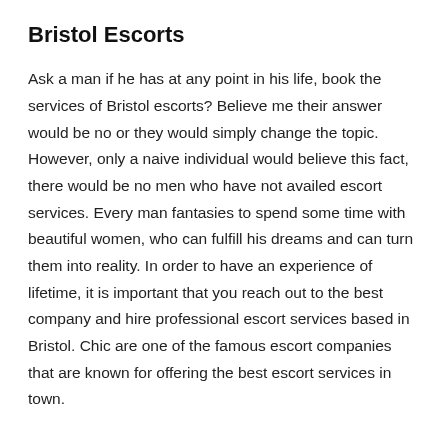Bristol Escorts
Ask a man if he has at any point in his life, book the services of Bristol escorts? Believe me their answer would be no or they would simply change the topic. However, only a naive individual would believe this fact, there would be no men who have not availed escort services. Every man fantasies to spend some time with beautiful women, who can fulfill his dreams and can turn them into reality. In order to have an experience of lifetime, it is important that you reach out to the best company and hire professional escort services based in Bristol. Chic are one of the famous escort companies that are known for offering the best escort services in town.